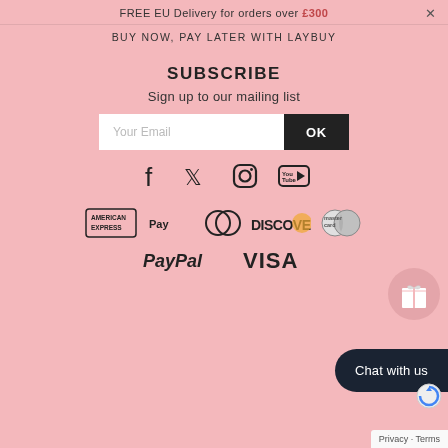FREE EU Delivery for orders over £300  ×
BUY NOW, PAY LATER WITH LAYBUY
SUBSCRIBE
Sign up to our mailing list
[Figure (screenshot): Email input box with placeholder 'Your Email' and black OK button]
[Figure (infographic): Social media icons: Facebook, Twitter, Instagram, YouTube]
[Figure (infographic): Gift/reward circular button icon]
[Figure (infographic): Payment method logos: American Express, Apple Pay, Diners Club, Discover, Mastercard]
[Figure (infographic): Payment method logos: PayPal, VISA]
Chat with us
Privacy · Terms